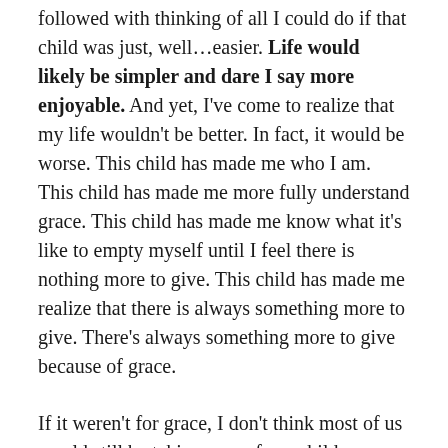followed with thinking of all I could do if that child was just, well…easier. Life would likely be simpler and dare I say more enjoyable. And yet, I've come to realize that my life wouldn't be better. In fact, it would be worse. This child has made me who I am. This child has made me more fully understand grace. This child has made me know what it's like to empty myself until I feel there is nothing more to give. This child has made me realize that there is always something more to give. There's always something more to give because of grace.
If it weren't for grace, I don't think most of us would still be taking care of our children. Surely a parent's love is a decent example of grace. These children come to us unable to do anything for us. If anything, they do nothing but disrupt our lives and ignore our needs and yet we love them. We love them so